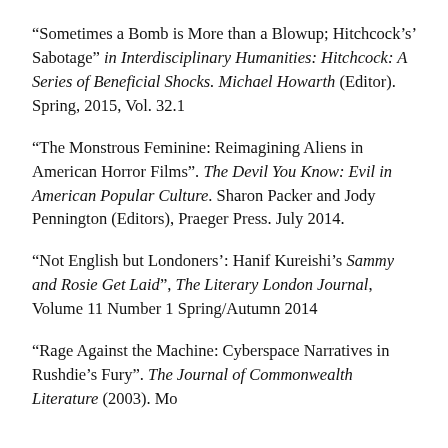“Sometimes a Bomb is More than a Blowup; Hitchcock’s’ Sabotage” in Interdisciplinary Humanities: Hitchcock: A Series of Beneficial Shocks. Michael Howarth (Editor). Spring, 2015, Vol. 32.1
“The Monstrous Feminine: Reimagining Aliens in American Horror Films”. The Devil You Know: Evil in American Popular Culture. Sharon Packer and Jody Pennington (Editors), Praeger Press. July 2014.
“Not English but Londoners’: Hanif Kureishi’s Sammy and Rosie Get Laid”, The Literary London Journal, Volume 11 Number 1 Spring/Autumn 2014
“Rage Against the Machine: Cyberspace Narratives in Rushdie’s Fury”. The Journal of Commonwealth Literature (2003). More...